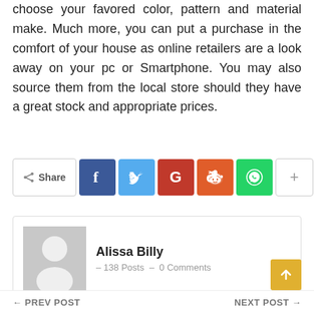choose your favored color, pattern and material make. Much more, you can put a purchase in the comfort of your house as online retailers are a look away on your pc or Smartphone. You may also source them from the local store should they have a great stock and appropriate prices.
[Figure (infographic): Social share bar with Share button, Facebook, Twitter, Google+, Reddit, WhatsApp, and plus icons]
Alissa Billy – 138 Posts – 0 Comments
← PREV POST    NEXT POST →